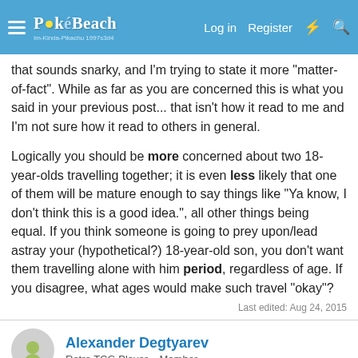PokéBeach navigation bar with Log in, Register links
that sounds snarky, and I'm trying to state it more "matter-of-fact". While as far as you are concerned this is what you said in your previous post... that isn't how it read to me and I'm not sure how it read to others in general.

Logically you should be more concerned about two 18-year-olds travelling together; it is even less likely that one of them will be mature enough to say things like "Ya know, I don't think this is a good idea.", all other things being equal. If you think someone is going to prey upon/lead astray your (hypothetical?) 18-year-old son, you don't want them travelling alone with him period, regardless of age. If you disagree, what ages would make such travel "okay"?
Last edited: Aug 24, 2015
Alexander Degtyarev
Retro TCG Player   Member
Aug 24, 2015   #55